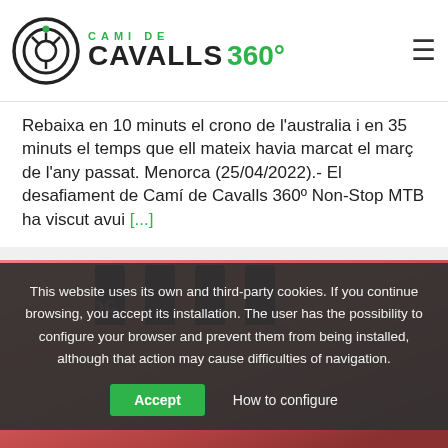CAMI DE CAVALLS 360
Rebaixa en 10 minuts el crono de l'australia i en 35 minuts el temps que ell mateix havia marcat el març de l'any passat. Menorca (25/04/2022).- El desafiament de Camí de Cavalls 360º Non-Stop MTB ha viscut avui [...]
[Figure (photo): Close-up of a pink/red cycling helmet with black ventilation slots and 'poc' and 'easyp...' branding visible]
This website uses its own and third-party cookies. If you continue browsing, you accept its installation. The user has the possibility to configure your browser and prevent them from being installed, although that action may cause difficulties of navigation.
Accept   How to configure